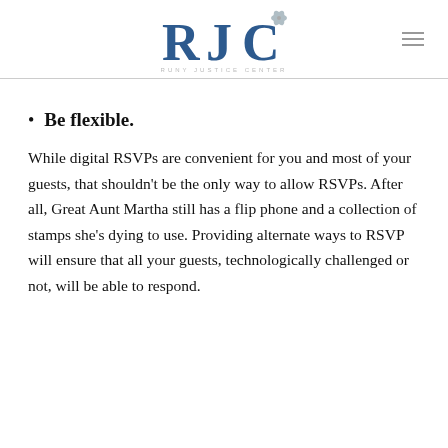RJC RUNY JUSTICE CENTER
Be flexible.
While digital RSVPs are convenient for you and most of your guests, that shouldn't be the only way to allow RSVPs. After all, Great Aunt Martha still has a flip phone and a collection of stamps she's dying to use. Providing alternate ways to RSVP will ensure that all your guests, technologically challenged or not, will be able to respond.